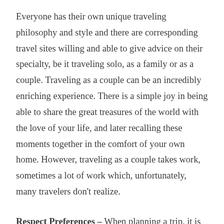Everyone has their own unique traveling philosophy and style and there are corresponding travel sites willing and able to give advice on their specialty, be it traveling solo, as a family or as a couple. Traveling as a couple can be an incredibly enriching experience. There is a simple joy in being able to share the great treasures of the world with the love of your life, and later recalling these moments together in the comfort of your own home. However, traveling as a couple takes work, sometimes a lot of work which, unfortunately, many travelers don't realize.
Respect Preferences – When planning a trip, it is easy to focus only on the places you want to see and activities